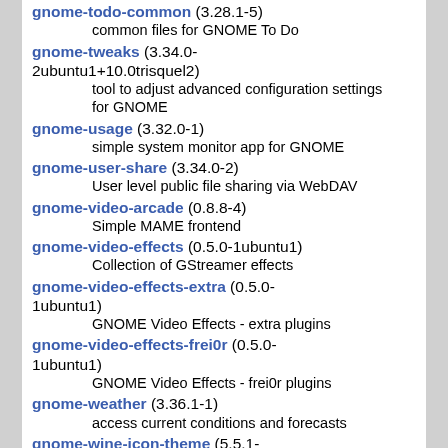gnome-todo-common (3.28.1-5)
    common files for GNOME To Do
gnome-tweaks (3.34.0-2ubuntu1+10.0trisquel2)
    tool to adjust advanced configuration settings for GNOME
gnome-usage (3.32.0-1)
    simple system monitor app for GNOME
gnome-user-share (3.34.0-2)
    User level public file sharing via WebDAV
gnome-video-arcade (0.8.8-4)
    Simple MAME frontend
gnome-video-effects (0.5.0-1ubuntu1)
    Collection of GStreamer effects
gnome-video-effects-extra (0.5.0-1ubuntu1)
    GNOME Video Effects - extra plugins
gnome-video-effects-frei0r (0.5.0-1ubuntu1)
    GNOME Video Effects - frei0r plugins
gnome-weather (3.36.1-1)
    access current conditions and forecasts
gnome-wine-icon-theme (5.5.1-2ubuntu2+10.0trisquel5)
    red variation of the GNOME-Colors icon theme